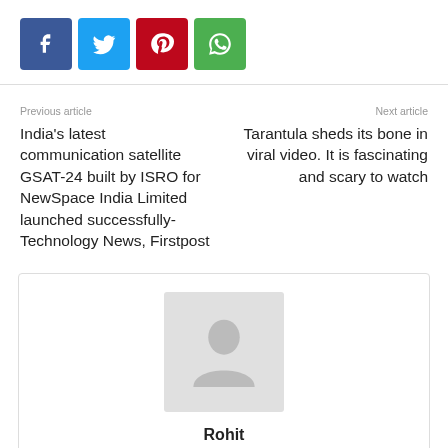[Figure (other): Row of social sharing buttons: Facebook (blue), Twitter (light blue), Pinterest (red), WhatsApp (green)]
Previous article
India's latest communication satellite GSAT-24 built by ISRO for NewSpace India Limited launched successfully- Technology News, Firstpost
Next article
Tarantula sheds its bone in viral video. It is fascinating and scary to watch
[Figure (photo): Author avatar placeholder image — grey square with a silhouette person icon]
Rohit